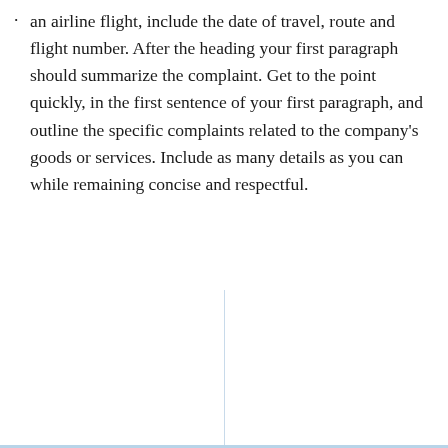an airline flight, include the date of travel, route and flight number. After the heading your first paragraph should summarize the complaint. Get to the point quickly, in the first sentence of your first paragraph, and outline the specific complaints related to the company's goods or services. Include as many details as you can while remaining concise and respectful.